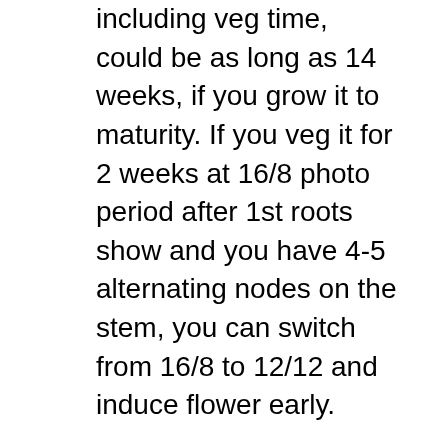including veg time, could be as long as 14 weeks, if you grow it to maturity. If you veg it for 2 weeks at 16/8 photo period after 1st roots show and you have 4-5 alternating nodes on the stem, you can switch from 16/8 to 12/12 and induce flower early.
The Seed Program provides a variety of high-quality individualized services for exceptional children who have educational, behavioral and developmental needs. If you print this seed planting guide I suggest you check here occasionally to see if a more up to date version is available. The version is listed on the top right hand corner of the PDF ...